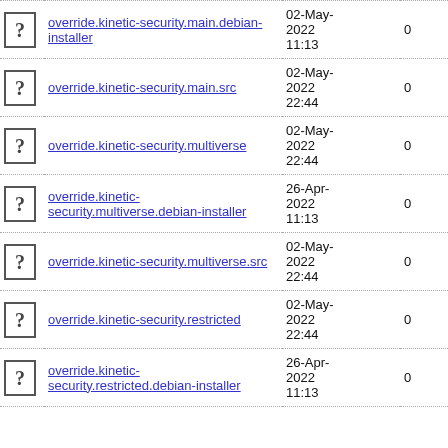|  | Name | Date | Size |
| --- | --- | --- | --- |
| [?] | override.kinetic-security.main.debian-installer | 02-May-2022 11:13 | 0 |
| [?] | override.kinetic-security.main.src | 02-May-2022 22:44 | 0 |
| [?] | override.kinetic-security.multiverse | 02-May-2022 22:44 | 0 |
| [?] | override.kinetic-security.multiverse.debian-installer | 26-Apr-2022 11:13 | 0 |
| [?] | override.kinetic-security.multiverse.src | 02-May-2022 22:44 | 0 |
| [?] | override.kinetic-security.restricted | 02-May-2022 22:44 | 0 |
| [?] | override.kinetic-security.restricted.debian-installer | 26-Apr-2022 11:13 | 0 |